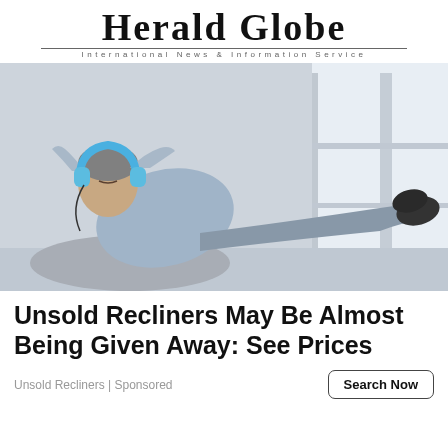Herald Globe — International News & Information Service
[Figure (photo): Man reclining in a chair with blue headphones on, eyes closed, hands behind head, feet up near a window, relaxed posture.]
Unsold Recliners May Be Almost Being Given Away: See Prices
Unsold Recliners | Sponsored
Search Now